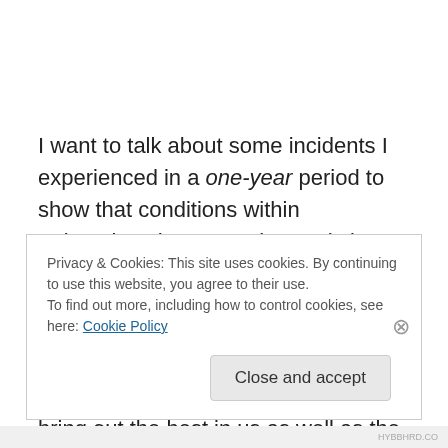I want to talk about some incidents I experienced in a one-year period to show that conditions within Scientology have not changed since Hubbard's death.
I met Hubbard for the first time in Las Palmas in August 1965, when I joined the Sea Project. He had the ability to bring out the best in us as well as the worst.
On the good side, he inspired me to achieve things I never
Privacy & Cookies: This site uses cookies. By continuing to use this website, you agree to their use.
To find out more, including how to control cookies, see here: Cookie Policy